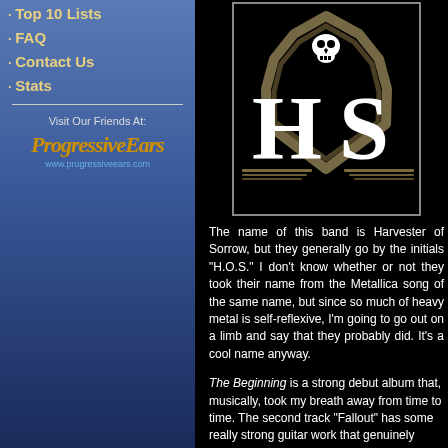Top 10 Lists
FAQ
Contact Us
Stats
Visit Our Friends At:
[Figure (logo): ProgressiveEars logo with stylized text and www.progressiveears.com URL]
[Figure (logo): Harvester of Sorrow (H.O.S.) band logo — white gothic H and S letters with skull and bullet/spike arch on black background, framed with grey border]
The name of this band is Harvester of Sorrow, but they generally go by the initials "H.O.S." I don't know whether or not they took their name from the Metallica song of the same name, but since so much of heavy metal is self-reflexive, I'm going to go out on a limb and say that they probably did. It's a cool name anyway.
The Beginning is a strong debut album that, musically, took my breath away from time to time. The second track "Fallout" has some really strong guitar work that genuinely surprised me. I love it when guitarists use pitch bends and whammy bars to good effect. The rest